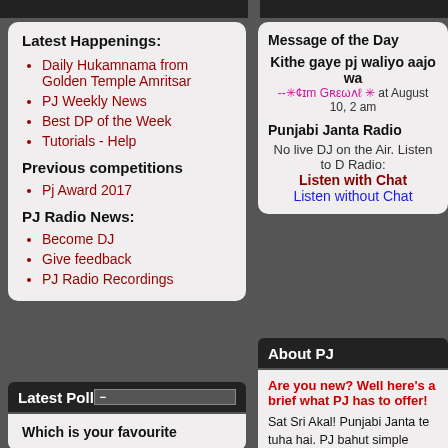Latest Happenings:
Daily Hukamnama from Golden Temple Amritsar
PJ Weekly News
Best DP of the Week
Tutorials - Help
Previous competitions
Pj Award 2017
PJ Radio News:
Become DJ
Give feedback
PJ Radio Recordings
Latest Poll
Which is your favourite
Message of the Day
Kithe gaye pj waliyo aajo wa
--✳¢ᴛm Gʀεωʌ⁠ ✳ at August 10, 2 am
Punjabi Janta Radio
No live DJ on the Air. Listen to D Radio:
Listen with Chat
Listen without Chat
About PJ
Are you new? Well here's a brief what PJ has to offer!
Sat Sri Akal! Punjabi Janta te tuha hai. PJ bahut simple community ha tussi apna virsa, soch, experiences share kar sakde ho.